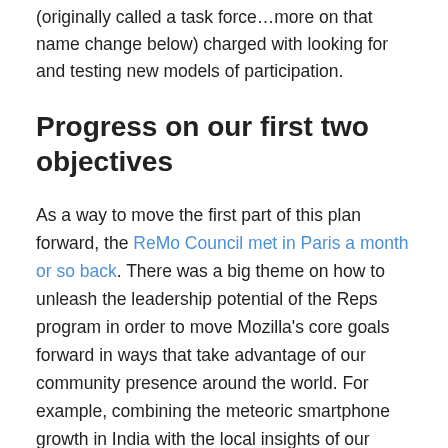(originally called a task force…more on that name change below) charged with looking for and testing new models of participation.
Progress on our first two objectives
As a way to move the first part of this plan forward, the ReMo Council met in Paris a month or so back. There was a big theme on how to unleash the leadership potential of the Reps program in order to move Mozilla's core goals forward in ways that take advantage of our community presence around the world. For example, combining the meteoric smartphone growth in India with the local insights of our Indian community to come up with fresh ideas on how to move Firefox for Android towards its growth goal.